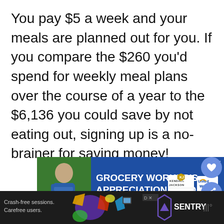You pay $5 a week and your meals are planned out for you. If you compare the $260 you'd spend for weekly meal plans over the course of a year to the $6,136 you could save by not eating out, signing up is a no-brainer for saving money!
[Figure (screenshot): Advertisement banner for Grocery Worker's Appreciation Fund featuring an image of a person, Kendall Jackson logo, and United Way logo on a blue background]
[Figure (screenshot): Advertisement bar at the bottom for Sentry with text 'Crash-free sessions. Carefree users.' on a dark background with colorful gaming-style illustration]